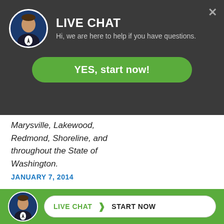[Figure (screenshot): Live chat overlay popup with lawyer avatar, 'LIVE CHAT' heading, subtitle 'Hi, we are here to help if you have questions.' and green 'YES, start now!' button]
Federal Way, Bellingham, Marysville, Lakewood, Redmond, Shoreline, and throughout the State of Washington.
JANUARY 7, 2014
High Driver Kills Bellevue Motorcyclist
[Figure (screenshot): Bottom green bar with lawyer avatar, 'LIVE CHAT > START NOW' button in white pill shape]